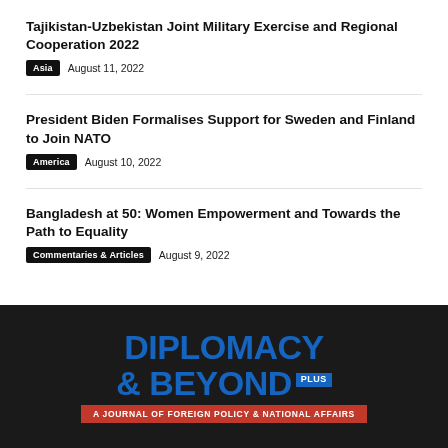Tajikistan-Uzbekistan Joint Military Exercise and Regional Cooperation 2022
Asia   August 11, 2022
President Biden Formalises Support for Sweden and Finland to Join NATO
America   August 10, 2022
Bangladesh at 50: Women Empowerment and Towards the Path to Equality
Commentaries & Articles   August 9, 2022
[Figure (logo): Diplomacy & Beyond Plus logo — dark background, blue bold text reading DIPLOMACY & BEYOND with PLUS badge, red subtitle bar reading A JOURNAL OF FOREIGN POLICY & NATIONAL AFFAIRS]